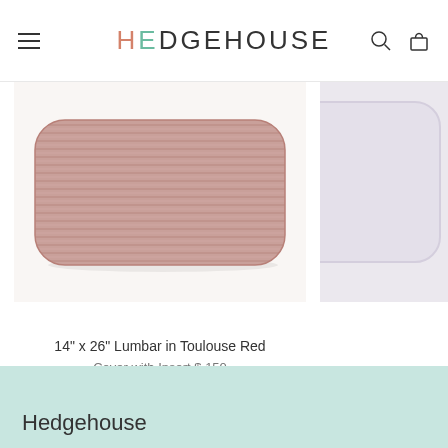HEDGEHOUSE
[Figure (photo): A rectangular lumbar pillow with horizontal ribbed stripes in a dusty rose/red color, photographed on a white background]
14" x 26" Lumbar in Toulouse Red
Cover with Insert $ 150
Cover Only $ 90
[Figure (photo): Partial view of a square pillow with light lavender/white color, cropped on the right edge]
26" x 26
Hedgehouse